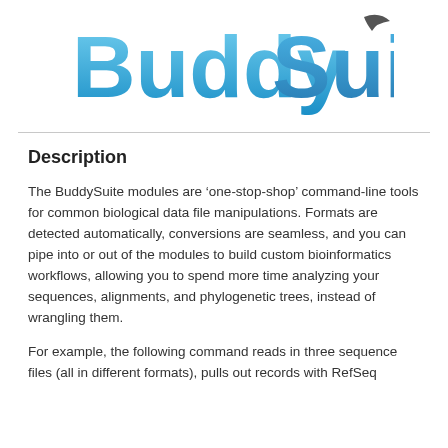[Figure (logo): BuddySuite logo with large stylized text in blue gradient colors]
Description
The BuddySuite modules are ‘one-stop-shop’ command-line tools for common biological data file manipulations. Formats are detected automatically, conversions are seamless, and you can pipe into or out of the modules to build custom bioinformatics workflows, allowing you to spend more time analyzing your sequences, alignments, and phylogenetic trees, instead of wrangling them.
For example, the following command reads in three sequence files (all in different formats), pulls out records with RefSeq